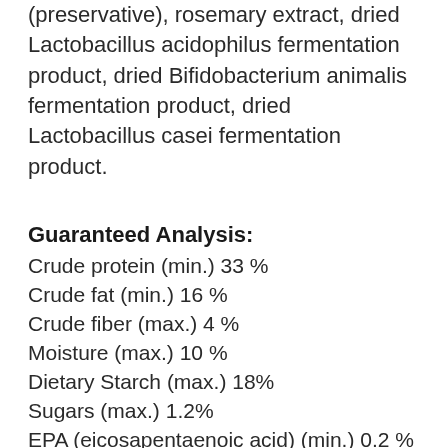(preservative), rosemary extract, dried Lactobacillus acidophilus fermentation product, dried Bifidobacterium animalis fermentation product, dried Lactobacillus casei fermentation product.
Guaranteed Analysis:
Crude protein (min.) 33 %
Crude fat (min.) 16 %
Crude fiber (max.) 4 %
Moisture (max.) 10 %
Dietary Starch (max.) 18%
Sugars (max.) 1.2%
EPA (eicosapentaenoic acid) (min.) 0.2 %
DHA (docosahexaenoic acid) (min.) 0.28%